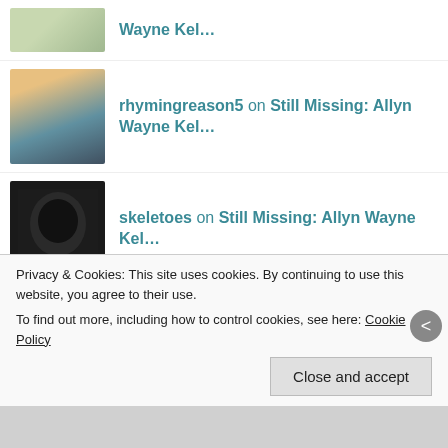Wayne Kel…
rhymingreason5 on Still Missing: Allyn Wayne Kel…
skeletoes on Still Missing: Allyn Wayne Kel…
Michele on Still Missing: Allyn Wayne Kel…
Tosha Michelle on Still Missing: Allyn Wayne Kel…
tigerchelle78 on Still Missing: Allyn Wayne Kel…
Privacy & Cookies: This site uses cookies. By continuing to use this website, you agree to their use.
To find out more, including how to control cookies, see here: Cookie Policy
Close and accept